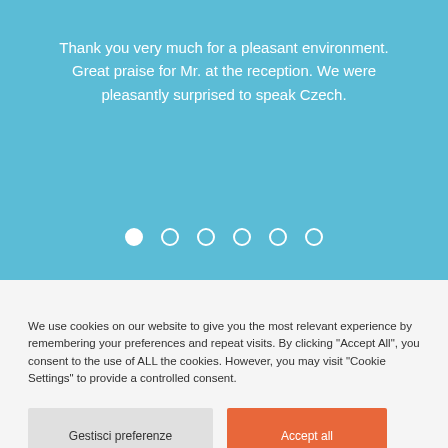Thank you very much for a pleasant environment. Great praise for Mr. at the reception. We were pleasantly surprised to speak Czech.
[Figure (other): Carousel navigation dots: one filled white circle followed by five empty white circle outlines, indicating the first slide is active out of six.]
We use cookies on our website to give you the most relevant experience by remembering your preferences and repeat visits. By clicking "Accept All", you consent to the use of ALL the cookies. However, you may visit "Cookie Settings" to provide a controlled consent.
Gestisci preferenze
Accept all